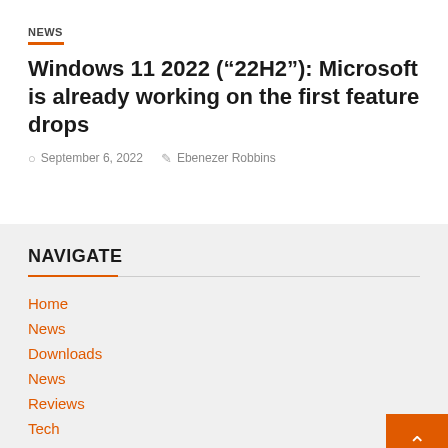NEWS
Windows 11 2022 (“22H2”): Microsoft is already working on the first feature drops
September 6, 2022   Ebenezer Robbins
NAVIGATE
Home
News
Downloads
News
Reviews
Tech